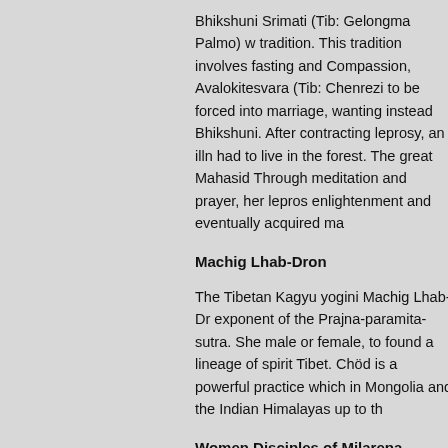Bhikshuni Srimati (Tib: Gelongma Palmo) w tradition. This tradition involves fasting and Compassion, Avalokitesvara (Tib: Chenrezi to be forced into marriage, wanting instead Bhikshuni. After contracting leprosy, an illn had to live in the forest. The great Mahasid Through meditation and prayer, her lepros enlightenment and eventually acquired ma
Machig Lhab-Dron
The Tibetan Kagyu yogini Machig Lhab-Dr exponent of the Prajna-paramita-sutra. She male or female, to found a lineage of spirit Tibet. Chöd is a powerful practice which in Mongolia and the Indian Himalayas up to th
Women Disciples of Milarepa
Some of the famous female disciples of the
Rechungma doubted Milarepa's realizatio to Rechungma all the pith-instructions wit enlightenment through the practice of gTu teachings.